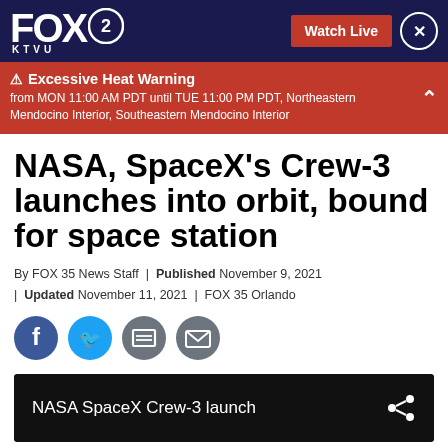FOX 2 KTVU | Watch Live
⚠ Excessive Heat Warning from MON 11:00 AM PDT until TUE 11:00 PM PDT, Northeastern Mendocino Interior, Southeastern Mendocino Interior
NASA, SpaceX's Crew-3 launches into orbit, bound for space station
By FOX 35 News Staff | Published November 9, 2021 | Updated November 11, 2021 | FOX 35 Orlando
[Figure (screenshot): Social sharing icons: Facebook, Twitter, Print, Email]
[Figure (screenshot): Video player thumbnail with label 'NASA SpaceX Crew-3 launch' and share icon]